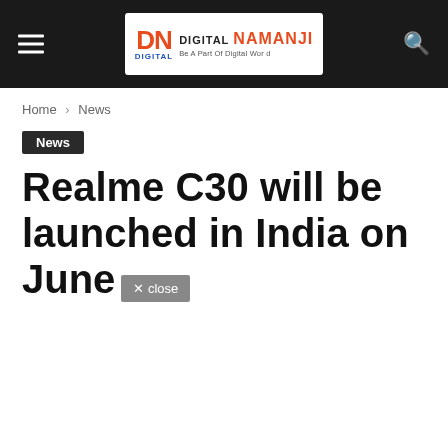Digital Namanji — Be A Part Of Digital World (navigation header with hamburger menu and search icon)
Home › News
News
Realme C30 will be launched in India on June